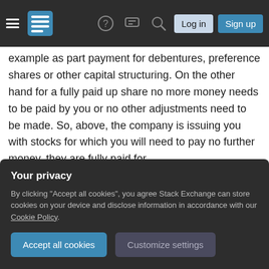Stack Exchange navigation bar with hamburger menu, logo, help, chat, search icons, Log in and Sign up buttons
example as part payment for debentures, preference shares or other capital structuring. On the other hand for a fully paid up share no more money needs to be paid by you or no other adjustments need to be made. So, above, the company is issuing you with stocks for which you will need to pay no further money, they are fully paid for.
Authorized Capital: Authorized capital of a company is the amount of money a company can raise by
Your privacy
By clicking "Accept all cookies", you agree Stack Exchange can store cookies on your device and disclose information in accordance with our Cookie Policy.
company may raise less than this, which is called